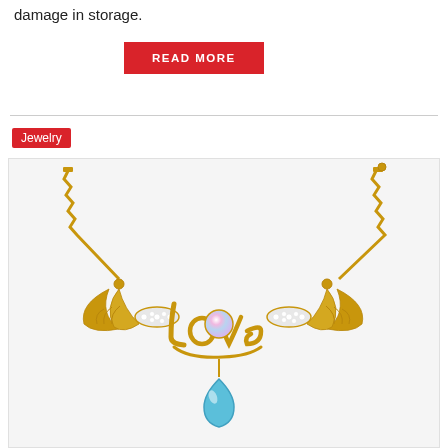damage in storage.
READ MORE
Jewelry
[Figure (photo): Gold 'Love' necklace with angel wings, crystal embellishments, and a blue teardrop pendant]